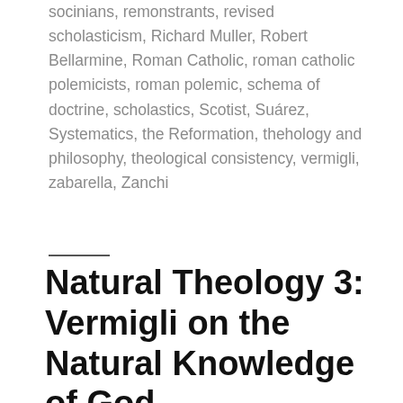socinians, remonstrants, revised scholasticism, Richard Muller, Robert Bellarmine, Roman Catholic, roman catholic polemicists, roman polemic, schema of doctrine, scholastics, Scotist, Suárez, Systematics, the Reformation, thehology and philosophy, theological consistency, vermigli, zabarella, Zanchi
Natural Theology 3: Vermigli on the Natural Knowledge of God